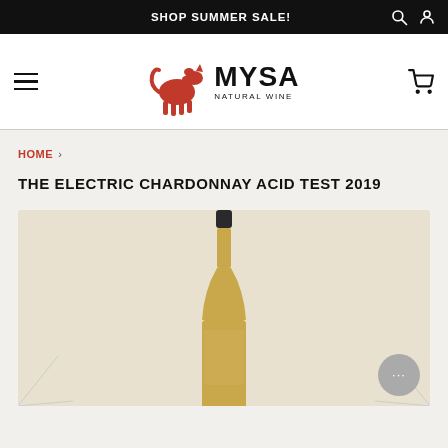SHOP SUMMER SALE!
[Figure (logo): MYSA Natural Wine logo with red horse silhouette]
HOME ›
THE ELECTRIC CHARDONNAY ACID TEST 2019
[Figure (photo): Wine bottle – The Electric Chardonnay Acid Test 2019 – amber/golden bottle with dark cap on cream background]